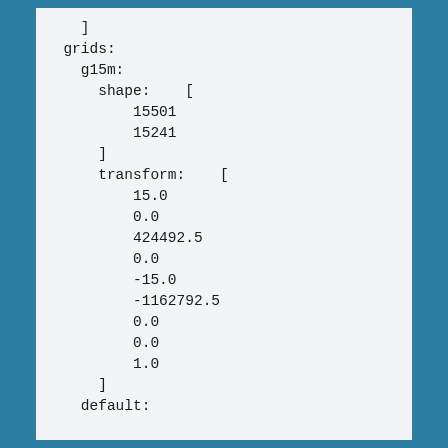]
  grids:
    g15m:
      shape:    [
          15501
          15241
      ]
      transform:    [
          15.0
          0.0
          424492.5
          0.0
          -15.0
          -1162792.5
          0.0
          0.0
          1.0
      ]
    default: